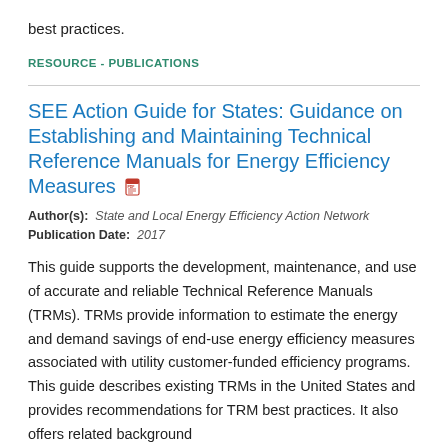best practices.
RESOURCE - PUBLICATIONS
SEE Action Guide for States: Guidance on Establishing and Maintaining Technical Reference Manuals for Energy Efficiency Measures
Author(s): State and Local Energy Efficiency Action Network
Publication Date: 2017
This guide supports the development, maintenance, and use of accurate and reliable Technical Reference Manuals (TRMs). TRMs provide information to estimate the energy and demand savings of end-use energy efficiency measures associated with utility customer-funded efficiency programs. This guide describes existing TRMs in the United States and provides recommendations for TRM best practices. It also offers related background